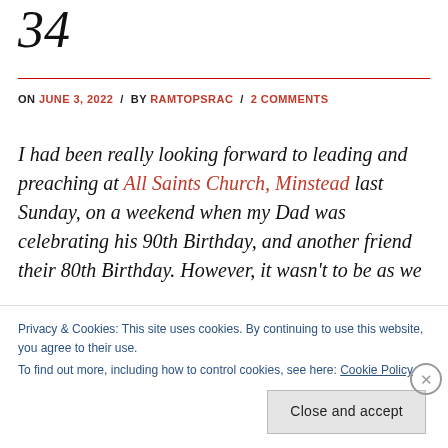34
ON JUNE 3, 2022 / BY RAMTOPSRAC / 2 COMMENTS
I had been really looking forward to leading and preaching at All Saints Church, Minstead last Sunday, on a weekend when my Dad was celebrating his 90th Birthday, and another friend their 80th Birthday. However, it wasn't to be as we
Privacy & Cookies: This site uses cookies. By continuing to use this website, you agree to their use.
To find out more, including how to control cookies, see here: Cookie Policy
Close and accept